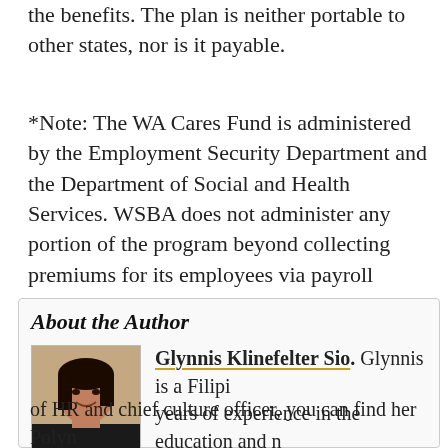the benefits. The plan is neither portable to other states, nor is it payable.
*Note: The WA Cares Fund is administered by the Employment Security Department and the Department of Social and Health Services. WSBA does not administer any portion of the program beyond collecting premiums for its employees via payroll deduction and reporting employee pay and hours.
About the Author
[Figure (photo): Headshot photo of Glynnis Klinefelter Sio, a woman with long dark hair, smiling, wearing a dark top, with a warm-toned background.]
Glynnis Klinefelter Sio. Glynnis is a Filipi years of experience in the education and r centering employee and organizational we and compassionate leadership. When Glyr of HR and chief culture officer, you can find her Polyr with her children. She can reached at glynnisk@wsba